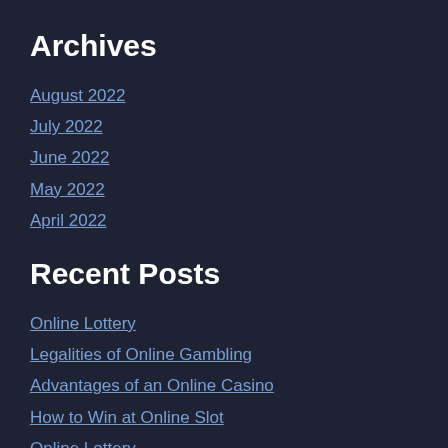Archives
August 2022
July 2022
June 2022
May 2022
April 2022
Recent Posts
Online Lottery
Legalities of Online Gambling
Advantages of an Online Casino
How to Win at Online Slot
Online Lottery